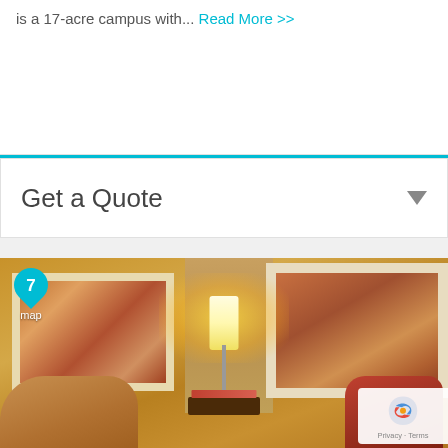is a 17-acre campus with... Read More >>
Get a Quote
[Figure (photo): Interior of a hotel or medical facility lounge/waiting room with warm amber lighting, two framed paintings on the walls, a floor lamp on a small table in the center, and chairs visible in the foreground. A map pin marker with the number 7 is overlaid in the top-left corner.]